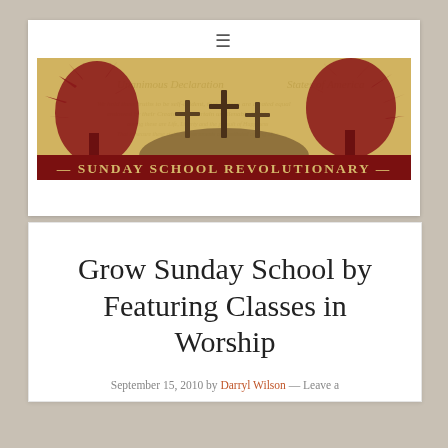[Figure (logo): Sunday School Revolutionary banner with three crosses on a parchment background and dark red trees on either side, text reads 'SUNDAY SCHOOL REVOLUTIONARY']
Grow Sunday School by Featuring Classes in Worship
September 15, 2010 by Darryl Wilson — Leave a